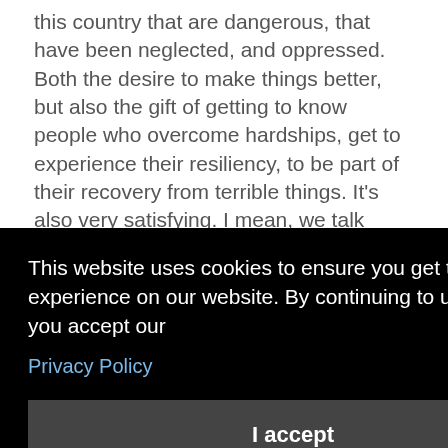this country that are dangerous, that have been neglected, and oppressed. Both the desire to make things better, but also the gift of getting to know people who overcome hardships, get to experience their resiliency, to be part of their recovery from terrible things. It's also very satisfying. I mean, we talk about post traumatic stress, but we also talk about post traumatic growth, right? That we get to see the best, and the worst of humanity. One thing that I enjoy about the work, I feel like I get to go behind the headlines,
[Figure (screenshot): Cookie consent overlay popup with black background. Text reads: 'This website uses cookies to ensure you get the best experience on our website. By continuing to use our site, you accept our Privacy Policy'. Below is an 'I accept' button.]
MSF, I had been a social worker in Washington D.C. for like